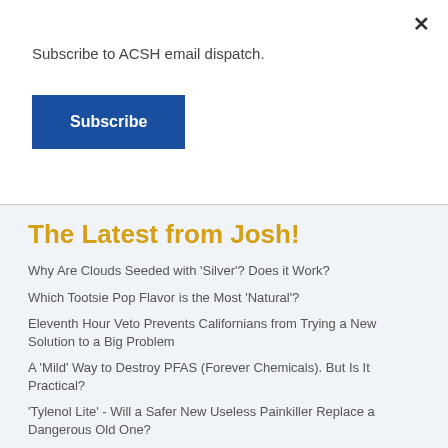Subscribe to ACSH email dispatch.
Subscribe
The Latest from Josh!
Why Are Clouds Seeded with 'Silver'? Does it Work?
Which Tootsie Pop Flavor is the Most 'Natural'?
Eleventh Hour Veto Prevents Californians from Trying a New Solution to a Big Problem
A 'Mild' Way to Destroy PFAS (Forever Chemicals). But Is It Practical?
'Tylenol Lite' - Will a Safer New Useless Painkiller Replace a Dangerous Old One?
More articles »»